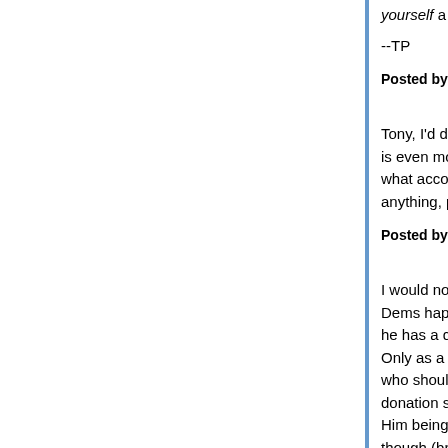yourself a "Republican" Senator, but actual Repub...
--TP
Posted by: Tony P. | July 03, 2017 at 12:41 AM
Tony, I'd definitely incline to "doesn't give a crap". is even more avid/desperate for a "win" than for th... what accommodations he will be willing to make i... anything, passed.
Posted by: wj | July 03, 2017 at 01:08 AM
I would not put it beyond him to go for a surprise a... Dems happen to be absent from the chamber and... he has a quorum. Only as a last resort of course. But, if the situatio... who should not be named going through with thei... donation spigot), I doubt he would hesitate. Him being not completely insane the debt ceiling ... though (bridges should be blown behind not in fro...
Posted by: Hartmut | July 03, 2017 at 04:11 AM